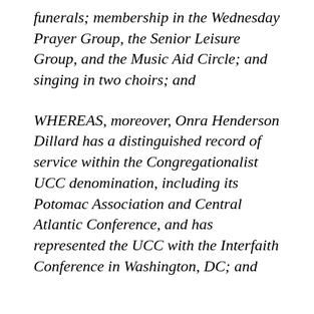funerals; membership in the Wednesday Prayer Group, the Senior Leisure Group, and the Music Aid Circle; and singing in two choirs; and
WHEREAS, moreover, Onra Henderson Dillard has a distinguished record of service within the Congregationalist UCC denomination, including its Potomac Association and Central Atlantic Conference, and has represented the UCC with the Interfaith Conference in Washington, DC; and